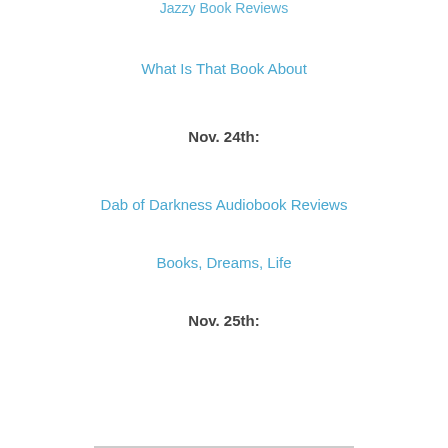Jazzy Book Reviews
What Is That Book About
Nov. 24th:
Dab of Darkness Audiobook Reviews
Books, Dreams, Life
Nov. 25th:
Desert Rose Reviews
Nov. 26th:
Up 'Til Dawn Book Blog
Nov. 27th:
The Book Addict's Reviews